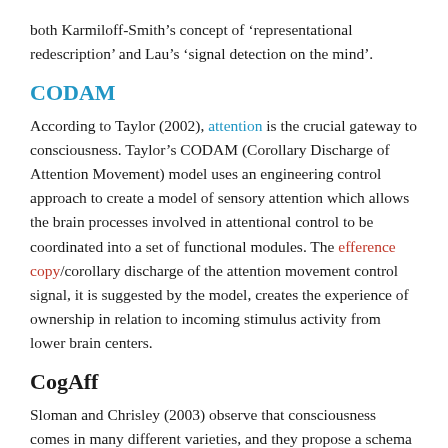both Karmiloff-Smith’s concept of ‘representational redescription’ and Lau’s ‘signal detection on the mind’.
CODAM
According to Taylor (2002), attention is the crucial gateway to consciousness. Taylor’s CODAM (Corollary Discharge of Attention Movement) model uses an engineering control approach to create a model of sensory attention which allows the brain processes involved in attentional control to be coordinated into a set of functional modules. The efference copy/corollary discharge of the attention movement control signal, it is suggested by the model, creates the experience of ownership in relation to incoming stimulus activity from lower brain centers.
CogAff
Sloman and Chrisley (2003) observe that consciousness comes in many different varieties, and they propose a schema for designing computational architectures that reflect this diversity. Their “CogAff” (cognitive and affective) computational schema includes multiple layers for reactive, deliberative, and meta-management processes.